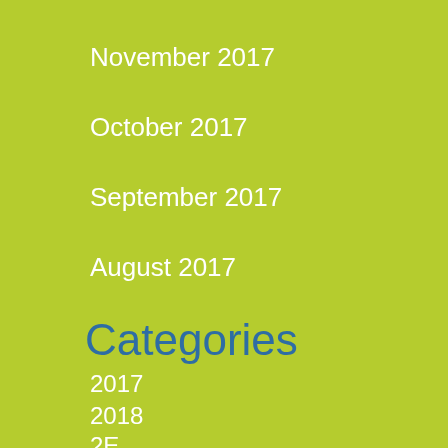November 2017
October 2017
September 2017
August 2017
Categories
2017
2018
2E